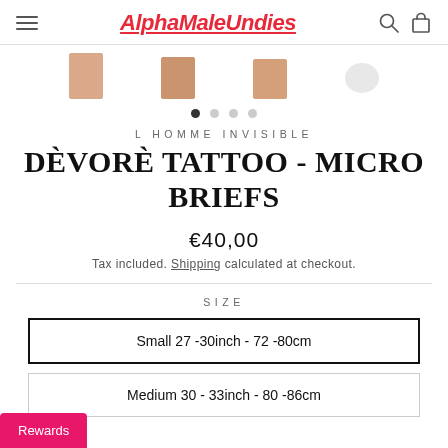AlphaMaleUndies
[Figure (photo): Product image thumbnails of underwear on model, three partial images visible at top]
L HOMME INVISIBLE
DÈVORÈ TATTOO - MICRO BRIEFS
€40,00
Tax included. Shipping calculated at checkout.
SIZE
Small 27 -30inch - 72 -80cm
Medium 30 - 33inch - 80 -86cm
Rewards